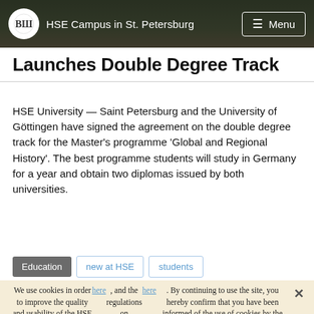HSE Campus in St. Petersburg  Menu
Launches Double Degree Track
HSE University — Saint Petersburg and the University of Göttingen have signed the agreement on the double degree track for the Master's programme 'Global and Regional History'. The best programme students will study in Germany for a year and obtain two diplomas issued by both universities.
Education
new at HSE
students
Invitation to participate
We use cookies in order to improve the quality and usability of the HSE website. More information about the use of cookies is available here, and the regulations on processing personal data can be found here. By continuing to use the site, you hereby confirm that you have been informed of the use of cookies by the HSE website and agree with our rules for processing personal data. You may disable cookies in your browser settings.